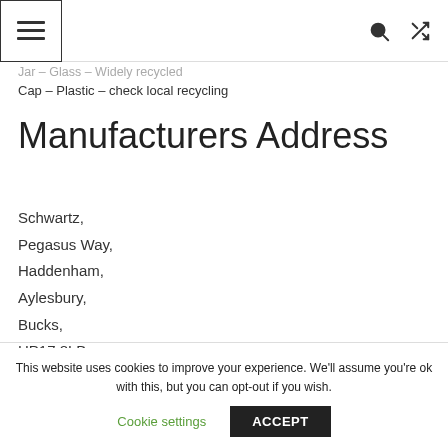[Navigation bar with menu icon, search icon, and shuffle icon]
Jar – Glass – Widely recycled
Cap – Plastic – check local recycling
Manufacturers Address
Schwartz,
Pegasus Way,
Haddenham,
Aylesbury,
Bucks,
HP17 8LB.
This website uses cookies to improve your experience. We'll assume you're ok with this, but you can opt-out if you wish.
Cookie settings
ACCEPT